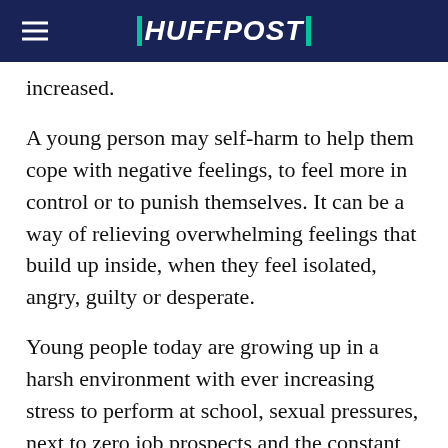HUFFPOST
increased.
A young person may self-harm to help them cope with negative feelings, to feel more in control or to punish themselves. It can be a way of relieving overwhelming feelings that build up inside, when they feel isolated, angry, guilty or desperate.
Young people today are growing up in a harsh environment with ever increasing stress to perform at school, sexual pressures, next to zero job prospects and the constant pressure to keep up with the latest consumer trends. They live in a 24-7 online culture that is very stressful and we adults are struggling to keep up and support them in their online lives. When